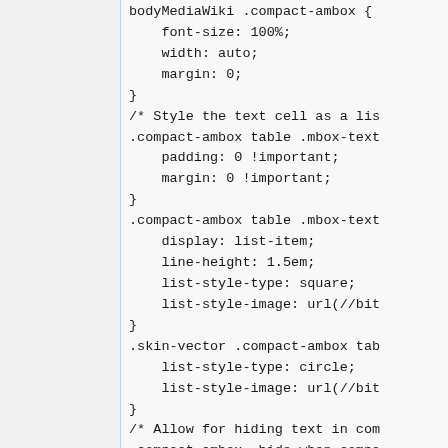[Figure (screenshot): Code editor screenshot showing CSS code for .compact-ambox and .skin-vector styles. The left panel is a gray sidebar, and the right panel shows monospace CSS source code with properties including font-size, width, margin, padding, display, line-height, list-style-type, list-style-image, and display:none.]